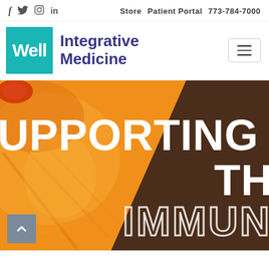f  Twitter  Instagram  in    Store  Patient Portal  773-784-7000
[Figure (logo): Well Integrative Medicine logo — teal square with 'Well' in white text, followed by 'Integrative Medicine' in dark purple text]
[Figure (infographic): Hero banner image showing close-up of citrus fruit (orange/lemon) with large white bold text overlaid reading 'SUPPORTING THE IMMUN[E]' — text is partially cropped. Background splits into orange citrus on left and dark brown on right.]